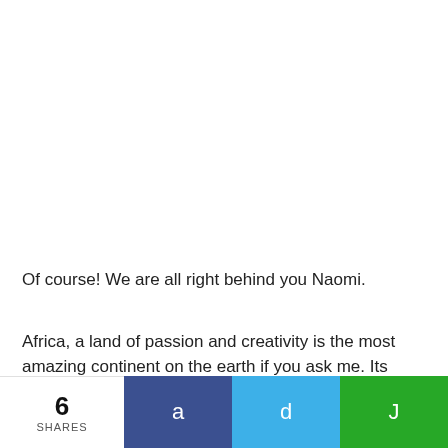Of course! We are all right behind you Naomi.
Africa, a land of passion and creativity is the most amazing continent on the earth if you ask me. Its culture, music, art, literature, and cultural practices have provoked interest and
6 SHARES  a  d  J